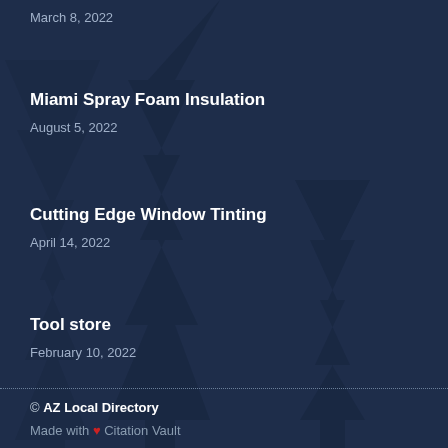March 8, 2022
Miami Spray Foam Insulation
August 5, 2022
Cutting Edge Window Tinting
April 14, 2022
Tool store
February 10, 2022
© AZ Local Directory
Made with ❤ Citation Vault